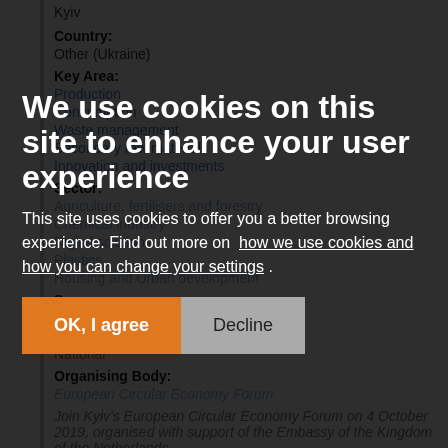Kyiv
Country:
Other (Ukraine)
Key Area:
Production
Consumption
Waste management
Secondary raw materials
Innovation and investments
Sector:
Agriculture, fertilisers and forestry
Chemical industry
Digital solutions
Plastics
Housing and Urban development
Scope:
EU
Cooperation and Development
National
Organising Body:
European Circular Economy Forum
Join Kyiv's European Circular Economy Forum on 4 October 2019, organised with support of the Embassy of the Kingdom of the Netherlands.
We use cookies on this site to enhance your user experience

This site uses cookies to offer you a better browsing experience. Find out more on how we use cookies and how you can change your settings .